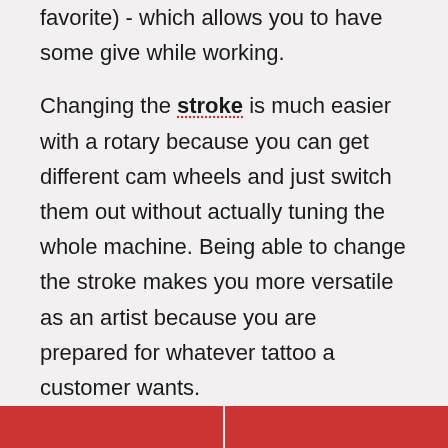favorite) - which allows you to have some give while working.
Changing the stroke is much easier with a rotary because you can get different cam wheels and just switch them out without actually tuning the whole machine. Being able to change the stroke makes you more versatile as an artist because you are prepared for whatever tattoo a customer wants.